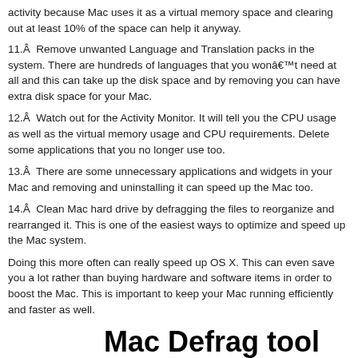activity because Mac uses it as a virtual memory space and clearing out at least 10% of the space can help it anyway.
11.Â  Remove unwanted Language and Translation packs in the system. There are hundreds of languages that you wonâ€™t need at all and this can take up the disk space and by removing you can have extra disk space for your Mac.
12.Â  Watch out for the Activity Monitor. It will tell you the CPU usage as well as the virtual memory usage and CPU requirements. Delete some applications that you no longer use too.
13.Â  There are some unnecessary applications and widgets in your Mac and removing and uninstalling it can speed up the Mac too.
14.Â  Clean Mac hard drive by defragging the files to reorganize and rearranged it. This is one of the easiest ways to optimize and speed up the Mac system.
Doing this more often can really speed up OS X. This can even save you a lot rather than buying hardware and software items in order to boost the Mac. This is important to keep your Mac running efficiently and faster as well.
Mac Defrag tool
[Figure (illustration): Hard drive icon illustration with colorful blocks representing defragmentation]
Improve data access speed and system performance by defragging Mac files on hard drive including the Boot volume